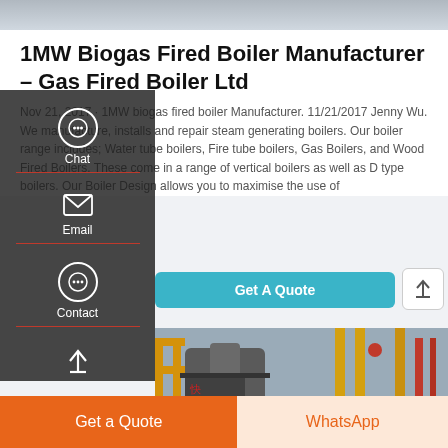[Figure (photo): Top portion of a boiler or industrial equipment photo (cropped at top of page)]
1MW Biogas Fired Boiler Manufacturer – Gas Fired Boiler Ltd
Nov 21, 2017 · 1MW biogas fired boiler Manufacturer. 11/21/2017 Jenny Wu. We manufacture, installs and repair steam generating boilers. Our boiler range includes; Water tube boilers, Fire tube boilers, Gas Boilers, and Wood Fired Boilers. These come in a range of vertical boilers as well as D type boilers. Our Boiler Design allows you to maximise the use of
[Figure (photo): Photo of industrial gas-fired boiler equipment with yellow metal railings and grey cylindrical boiler body, Chinese characters visible]